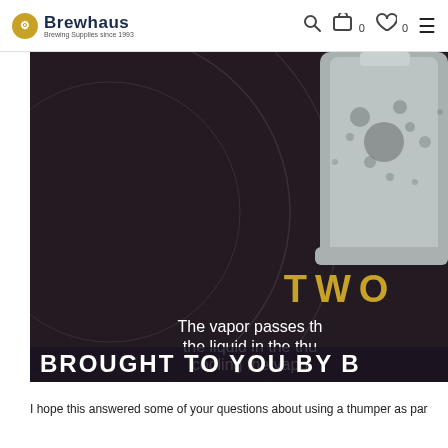Brewhaus – Brewing Supplies since 1993
[Figure (infographic): Dark circular-background infographic showing step TWO of a distillation process. Upper right shows an illustration of a thumper vessel (grey cylindrical container with bubbles). Text reads 'TWO' in gold/yellow letters and 'The vapor passes th[rough] the liquid in the thu[mper] cooling the vapo[r]'. Bottom banner reads 'BROUGHT TO YOU BY B[rewhaus]'.]
I hope this answered some of your questions about using a thumper as par[t of your distillation process. For any help,] I'll be happy to [answer some of your...]